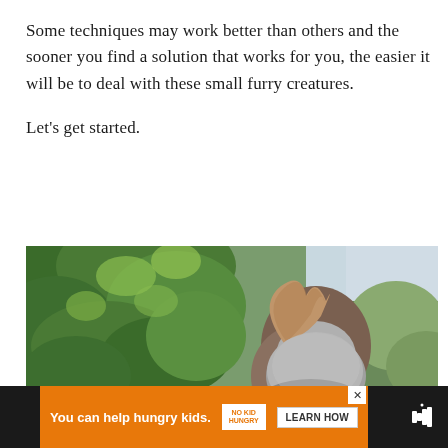Some techniques may work better than others and the sooner you find a solution that works for you, the easier it will be to deal with these small furry creatures.

Let's get started.
[Figure (photo): A squirrel sitting on top of someone's head in a garden setting with green leafy bushes in the background]
You can help hungry kids. NO KID HUNGRY LEARN HOW